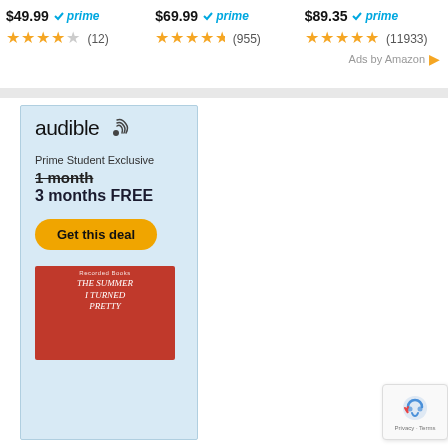$49.99 prime ★★★★☆ (12)
$69.99 prime ★★★★½ (955)
$89.35 prime ★★★★½ (11933)
Ads by Amazon
[Figure (illustration): Audible advertisement banner with light blue background. Shows Audible logo, 'Prime Student Exclusive', strikethrough '1 month', '3 months FREE', a yellow 'Get this deal' button, and a book cover for 'The Summer I Turned Pretty' by Recorded Books.]